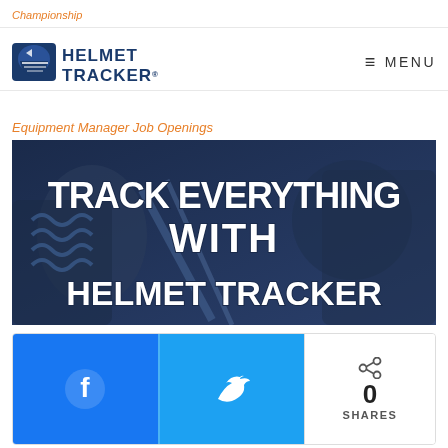Championship
[Figure (logo): Helmet Tracker logo with football helmet icon and bold text HELMET TRACKER]
≡ MENU
Equipment Manager Job Openings
[Figure (photo): Dark blue-toned photo of sports equipment (helmets, shoulder pads) with white bold text overlay reading TRACK EVERYTHING WITH HELMET TRACKER]
[Figure (infographic): Social share bar with Facebook button, Twitter button, and a shares counter showing 0 SHARES]